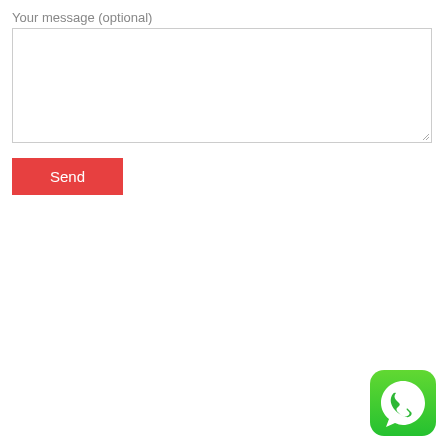Your message (optional)
[Figure (screenshot): Empty textarea input field with resize handle at bottom-right corner]
[Figure (screenshot): Red 'Send' button]
[Figure (logo): WhatsApp app icon — white phone-in-speech-bubble logo on green rounded square background]